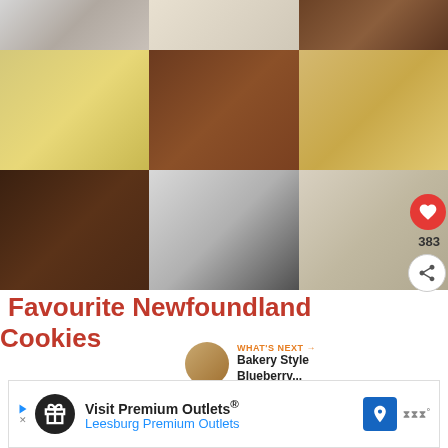[Figure (photo): 3x3 grid of food photos showing various cookies, bars, and treats including lemon bars, chocolate cookies, rice crispy treats, chocolate nut fudge, coconut chocolate cups, and coconut balls]
Favourite Newfoundland Cookies
WHAT'S NEXT → Bakery Style Blueberry...
[Figure (infographic): Advertisement banner: Visit Premium Outlets® Leesburg Premium Outlets]